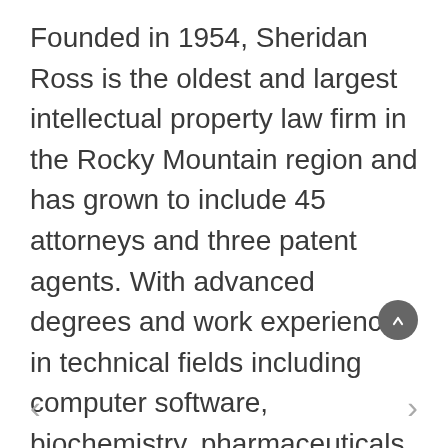Founded in 1954, Sheridan Ross is the oldest and largest intellectual property law firm in the Rocky Mountain region and has grown to include 45 attorneys and three patent agents. With advanced degrees and work experience in technical fields including computer software, biochemistry, pharmaceuticals, mathematics, chemistry, biochemistry, genetics and aeronautics – the firm's professionals are also engineers, researchers, rocket scientists and more who work with clients from virtually every industry and technology to deliver relevant,